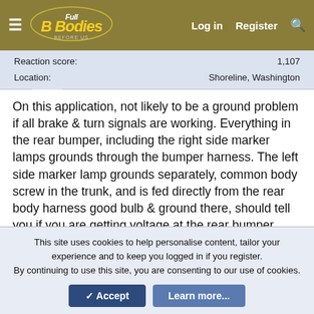Full B Bodies Before Us — Log in   Register
| Field | Value |
| --- | --- |
| Reaction score: | 1,107 |
| Location: | Shoreline, Washington |
On this application, not likely to be a ground problem if all brake & turn signals are working. Everything in the rear bumper, including the right side marker lamps grounds through the bumper harness. The left side marker lamp grounds separately, common body screw in the trunk, and is fed directly from the rear body harness good bulb & ground there, should tell you if you are getting voltage at the rear bumper harness. Agree, there are six total filaments running off that bumper harness, including the license plate light & right side marker, slim chance they are all out.
This site uses cookies to help personalise content, tailor your experience and to keep you logged in if you register.
By continuing to use this site, you are consenting to our use of cookies.